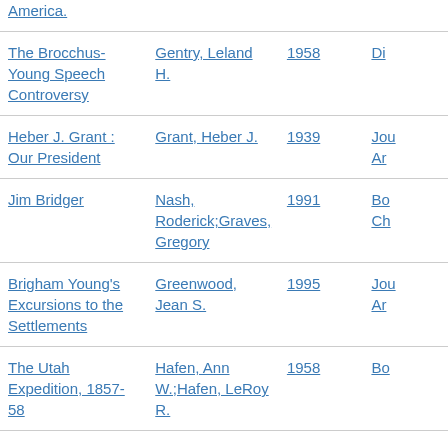| Title | Author | Year | Type |
| --- | --- | --- | --- |
| America. |  |  |  |
| The Brocchus-Young Speech Controversy | Gentry, Leland H. | 1958 | Di... |
| Heber J. Grant : Our President | Grant, Heber J. | 1939 | Jou... Ar... |
| Jim Bridger | Nash, Roderick;Graves, Gregory | 1991 | Bo... Ch... |
| Brigham Young's Excursions to the Settlements | Greenwood, Jean S. | 1995 | Jou... Ar... |
| The Utah Expedition, 1857-58 | Hafen, Ann W.;Hafen, LeRoy R. | 1958 | Bo... |